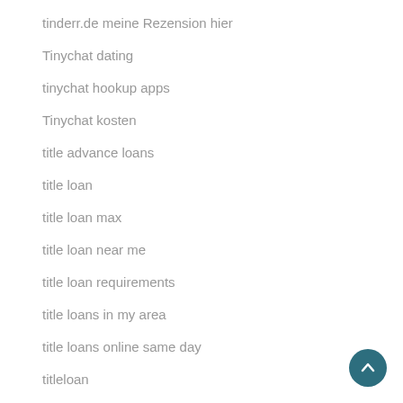tinderr.de meine Rezension hier
Tinychat dating
tinychat hookup apps
Tinychat kosten
title advance loans
title loan
title loan max
title loan near me
title loan requirements
title loans in my area
title loans online same day
titleloan